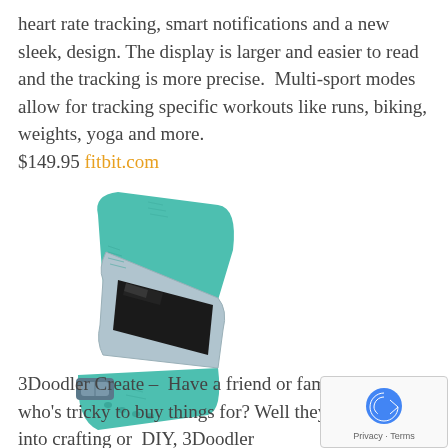heart rate tracking, smart notifications and a new sleek, design. The display is larger and easier to read and the tracking is more precise.  Multi-sport modes allow for tracking specific workouts like runs, biking, weights, yoga and more. $149.95 fitbit.com
[Figure (photo): Teal/turquoise Fitbit Charge 2 fitness tracker wristband with silver metal frame and black display screen, shown at an angle.]
3Doodler Create –  Have a friend or family member who's tricky to buy things for? Well they're artsy or into crafting or  DIY, 3Doodler